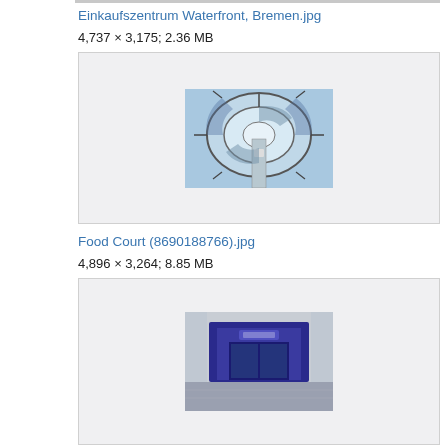Einkaufszentrum Waterfront, Bremen.jpg
4,737 × 3,175; 2.36 MB
[Figure (photo): Interior photo of a shopping mall ceiling with a circular glass skylight and radial structural elements, viewed from below. A central column is visible.]
Food Court (8690188766).jpg
4,896 × 3,264; 8.85 MB
[Figure (photo): Interior photo of a food court entrance with a large dark purple/blue arch gateway and signage, in a spacious hall with polished floors.]